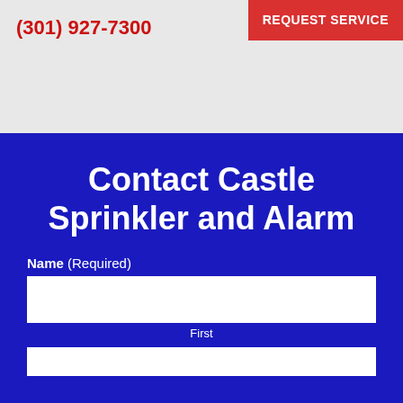(301) 927-7300
REQUEST SERVICE
Contact Castle Sprinkler and Alarm
Name (Required)
First